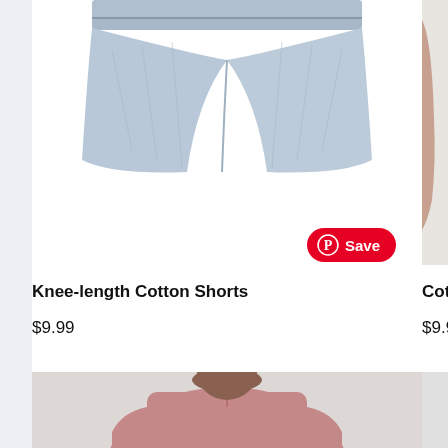[Figure (photo): Knee-length cotton shorts product image, light blue denim color, cropped view showing waistband and shorts body]
[Figure (photo): Cotton T-shirt product image, cropped on right edge showing partial arm/shoulder of model]
[Figure (photo): Pinterest Save button overlay in red with Pinterest logo and 'Save' text]
Knee-length Cotton Shorts
$9.99
Cotton T-s
$9.99
[Figure (photo): Man wearing pink/mauve polo shirt, looking slightly to the side, gray background, cropped at bottom of page]
[Figure (photo): Second product partially visible on right edge, gray background]